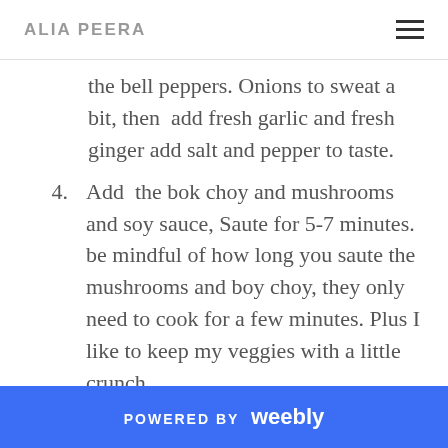ALIA PEERA
the bell peppers. Onions to sweat a bit, then  add fresh garlic and fresh ginger add salt and pepper to taste.
4.  Add  the bok choy and mushrooms and soy sauce, Saute for 5-7 minutes. be mindful of how long you saute the mushrooms and boy choy, they only need to cook for a few minutes. Plus I like to keep my veggies with a little crunch.
5.  You can also add a little of flour or cornstarch if you want to thicken the
POWERED BY weebly